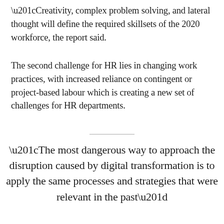“Creativity, complex problem solving, and lateral thought will define the required skillsets of the 2020 workforce, the report said.
The second challenge for HR lies in changing work practices, with increased reliance on contingent or project-based labour which is creating a new set of challenges for HR departments.
“The most dangerous way to approach the disruption caused by digital transformation is to apply the same processes and strategies that were relevant in the past”